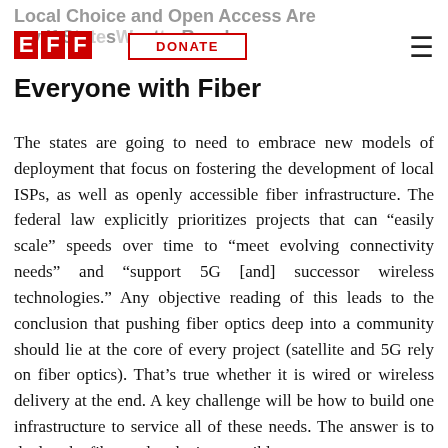Local Choice and Open Access Are Necessary If States Want to Reach Everyone with Fiber
Everyone with Fiber
The states are going to need to embrace new models of deployment that focus on fostering the development of local ISPs, as well as openly accessible fiber infrastructure. The federal law explicitly prioritizes projects that can “easily scale” speeds over time to “meet evolving connectivity needs” and “support 5G [and] successor wireless technologies.” Any objective reading of this leads to the conclusion that pushing fiber optics deep into a community should lie at the core of every project (satellite and 5G rely on fiber optics). That’s true whether it is wired or wireless delivery at the end. A key challenge will be how to build one infrastructure to service all of these needs. The answer is to deploy the fiber and make it accessible